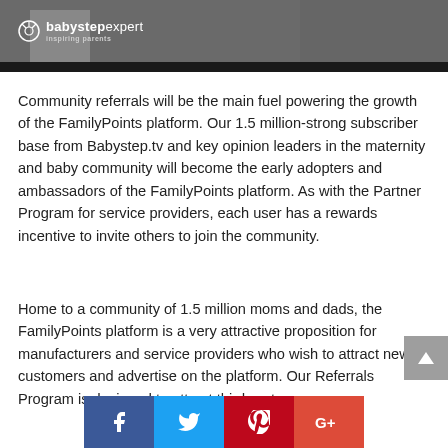[Figure (photo): Partial photo of a woman in a gray top, with a babystep.expert logo overlay in the bottom-left corner and a dark bar at the bottom.]
Community referrals will be the main fuel powering the growth of the FamilyPoints platform. Our 1.5 million-strong subscriber base from Babystep.tv and key opinion leaders in the maternity and baby community will become the early adopters and ambassadors of the FamilyPoints platform. As with the Partner Program for service providers, each user has a rewards incentive to invite others to join the community.
Home to a community of 1.5 million moms and dads, the FamilyPoints platform is a very attractive proposition for manufacturers and service providers who wish to attract new customers and advertise on the platform. Our Referrals Program is designed to attract third-party
[Figure (infographic): Social share buttons for Facebook, Twitter, Pinterest, and Google+]